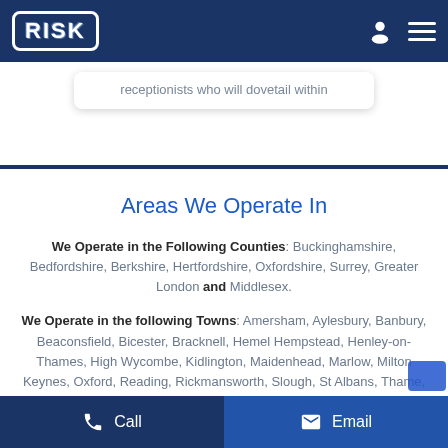RISK
receptionists who will dovetail within
Areas We Operate In
We Operate in the Following Counties: Buckinghamshire, Bedfordshire, Berkshire, Hertfordshire, Oxfordshire, Surrey, Greater London and Middlesex.
We Operate in the following Towns: Amersham, Aylesbury, Banbury, Beaconsfield, Bicester, Bracknell, Hemel Hempstead, Henley-on-Thames, High Wycombe, Kidlington, Maidenhead, Marlow, Milton Keynes, Oxford, Reading, Rickmansworth, Slough, St Albans, Thame, Uxbridge, Watford and Windsor
Call  Email